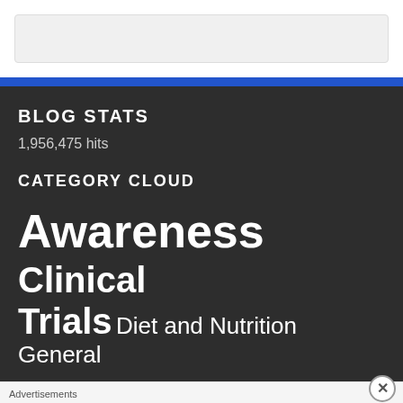[Figure (screenshot): Gray search/input bar at top of webpage]
BLOG STATS
1,956,475 hits
CATEGORY CLOUD
Awareness Clinical Trials Diet and Nutrition General
[Figure (photo): Ulta Beauty advertisement banner with makeup/cosmetics images and SHOP NOW text]